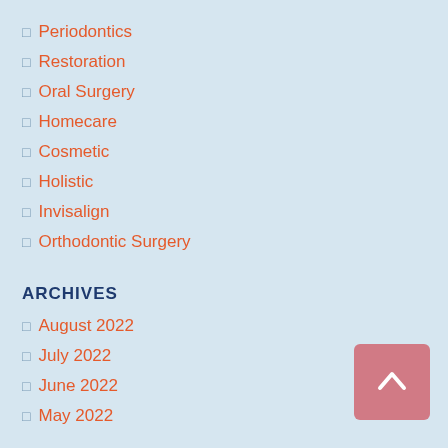Periodontics
Restoration
Oral Surgery
Homecare
Cosmetic
Holistic
Invisalign
Orthodontic Surgery
ARCHIVES
August 2022
July 2022
June 2022
May 2022